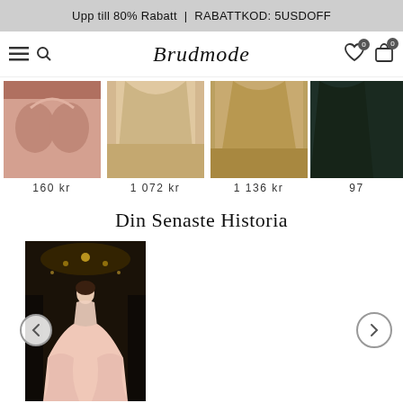Upp till 80% Rabatt | RABATTKOD: 5USDOFF
[Figure (screenshot): Website navigation bar with hamburger menu, search icon, Brudmode brand logo, heart with badge 0, cart with badge 0]
[Figure (photo): Product 1: close-up of bra/lingerie, price 160 kr]
160 kr
[Figure (photo): Product 2: golden/champagne draped fabric dress, price 1 072 kr]
1 072 kr
[Figure (photo): Product 3: golden draped dress floor length, price 1 136 kr]
1 136 kr
[Figure (photo): Product 4: dark green dress (partially visible), price 97...]
97
Din Senaste Historia
[Figure (photo): History product: woman in pink/blush long gown in dark elegant setting with chandeliers, price 1 312 kr]
1 312 kr